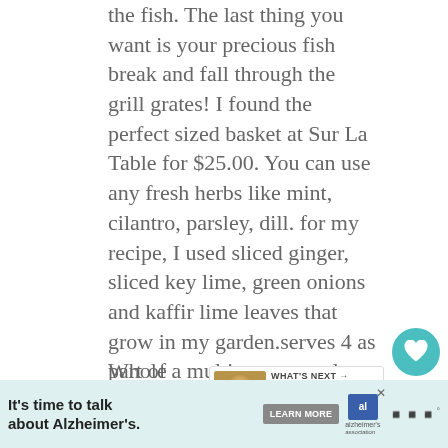the fish. The last thing you want is your precious fish break and fall through the grill grates! I found the perfect sized basket at Sur La Table for $25.00. You can use any fresh herbs like mint, cilantro, parsley, dill. for my recipe, I used sliced ginger, sliced key lime, green onions and kaffir lime leaves that grow in my garden.serves 4 as part of a multicourse meal
Whole fish, scaled and gutted (one 3 lb fish or two 1-1/2 lb fish)
[Figure (other): Heart/favorite button (teal circle with heart icon) and share button (teal circle with share icon), with count 81]
[Figure (other): WHAT'S NEXT promotional box showing Peking Chicken with thumbnail image]
[Figure (other): Advertisement banner: It's time to talk about Alzheimer's. LEARN MORE. Alzheimer's Association logo.]